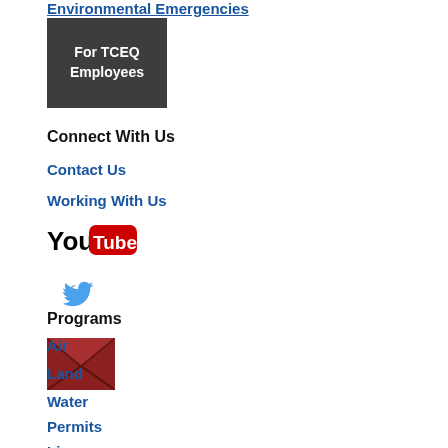Environmental Emergencies
[Figure (other): Dark gray button with white text reading 'For TCEQ Employees']
Connect With Us
Contact Us
Working With Us
[Figure (logo): YouTube logo - 'You' in black text and 'Tube' in white text on red rounded rectangle background]
[Figure (logo): Twitter bird logo in blue]
[Figure (logo): Email/envelope icon in dark red with X pattern]
Programs
Air
Land
Water
Permits
Licenses